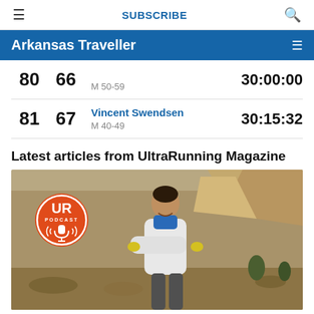≡  SUBSCRIBE  🔍
Arkansas Traveller  ≡
| Place | AG | Name/Category | Time |
| --- | --- | --- | --- |
| 80 | 66 | M 50-59 | 30:00:00 |
| 81 | 67 | Vincent Swendsen
M 40-49 | 30:15:32 |
Latest articles from UltraRunning Magazine
[Figure (photo): UltraRunning Magazine UR Podcast badge over a photo of a smiling male runner with arms crossed, wearing a white jacket, standing in a rocky desert landscape.]